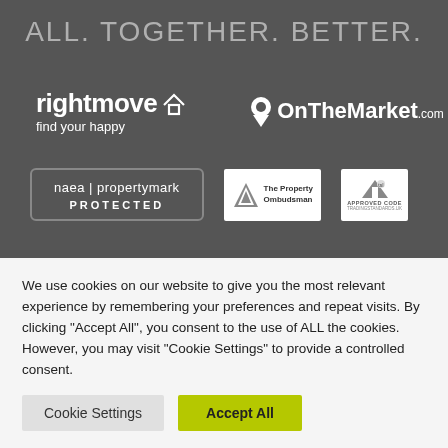ALL. TOGETHER. BETTER.
[Figure (logo): Rightmove logo with house icon and tagline 'find your happy']
[Figure (logo): OnTheMarket.com logo with map pin icon]
[Figure (logo): naea | propertymark PROTECTED badge]
[Figure (logo): The Property Ombudsman logo]
[Figure (logo): Approved Code - Tradingstandards.uk logo]
We use cookies on our website to give you the most relevant experience by remembering your preferences and repeat visits. By clicking "Accept All", you consent to the use of ALL the cookies. However, you may visit "Cookie Settings" to provide a controlled consent.
Cookie Settings | Accept All